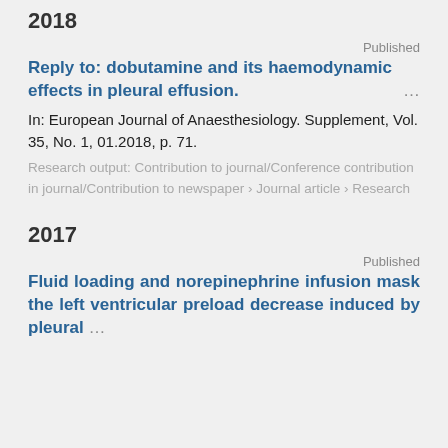2018
Published
Reply to: dobutamine and its haemodynamic effects in pleural effusion. …
In: European Journal of Anaesthesiology. Supplement, Vol. 35, No. 1, 01.2018, p. 71.
Research output: Contribution to journal/Conference contribution in journal/Contribution to newspaper › Journal article › Research
2017
Published
Fluid loading and norepinephrine infusion mask the left ventricular preload decrease induced by pleural …